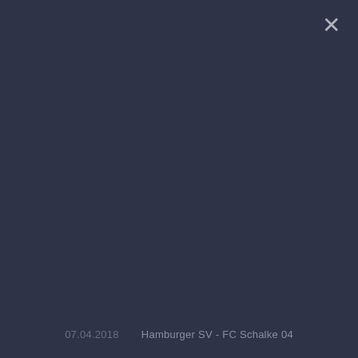[Figure (photo): Dark navy/slate blue background screen or overlay UI, mostly empty with a close (X) button in the top right corner]
07.04.2018    Hamburger SV - FC Schalke 04